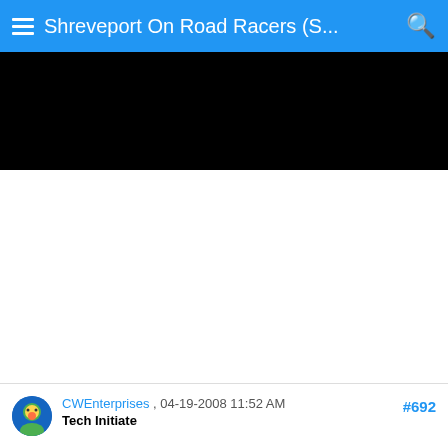Shreveport On Road Racers (S...
[Figure (photo): Black banner/image area at top of forum page]
CWEnterprises , 04-19-2008 11:52 AM
Tech Initiate
#692